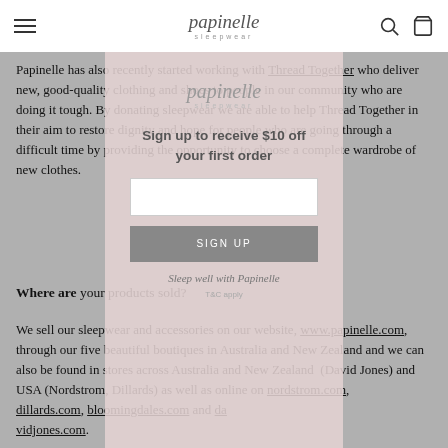papinelle sleepwear
Papinelle has also recently started working with Thread Together who deliver new, good-quality clothing and shoes to people in our community who are doing it tough. By donating sleepwear we are able to help Thread Together in their aim to restore dignity and hope for people who are going through a difficult time by providing the opportunity to choose a complete wardrobe of new clothes.
Where are your products sold?
We sell our sleepwear and accessories on our website, www.papinelle.com, through our five beautiful boutiques in Australia and New Zealand and we can also be found in stores across Australia and New Zealand (David Jones) and USA (Nordstrom, Dillards) as well as online on nordstrom.com, dillards.com, bloomingdales.com and davidjones.com.
[Figure (other): Modal popup overlay for email sign-up. Logo 'papinelle sleepwear' at top, then 'Sign up to receive $10 off your first order', a text input field, a SIGN UP button, 'Sleep well with Papinelle' tagline, and T&C apply text.]